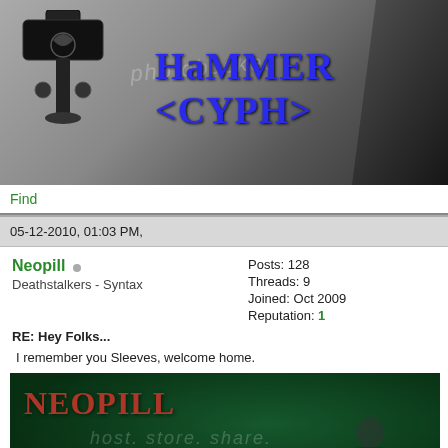[Figure (photo): Forum banner image with Thor's hammer icon on left, 'Hammer <CYPH>' text in blue gothic font in center, silhouetted figure on right, grayscale photo background]
Find
05-12-2010, 01:03 PM,
Neopill
Deathstalkers - Syntax
Posts: 128
Threads: 9
Joined: Oct 2009
Reputation: 1
RE: Hey Folks...
I remember you Sleeves, welcome home.
[Figure (photo): Signature image with 'NEOPILL' in red text, dark green background, figure reclining, photobucket watermark, RESTRICTED rating badge at bottom left]